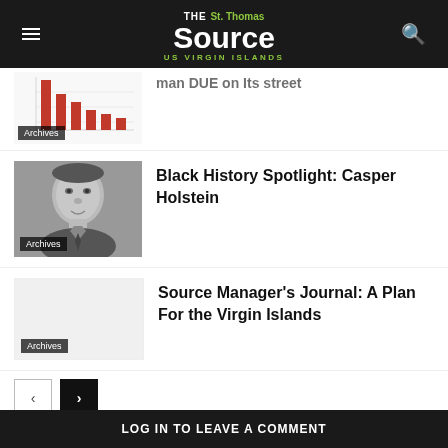THE St. Thomas Source US VIRGIN ISLANDS
[Figure (screenshot): Partial view of a bar chart thumbnail with red bars, labeled Archives]
man DUE on Its street
[Figure (photo): Black and white portrait photo of a man, labeled Archives]
Black History Spotlight: Casper Holstein
[Figure (other): Blank placeholder image labeled Archives]
Source Manager's Journal: A Plan For the Virgin Islands
< >
LEAVE A REPLY
LOG IN TO LEAVE A COMMENT